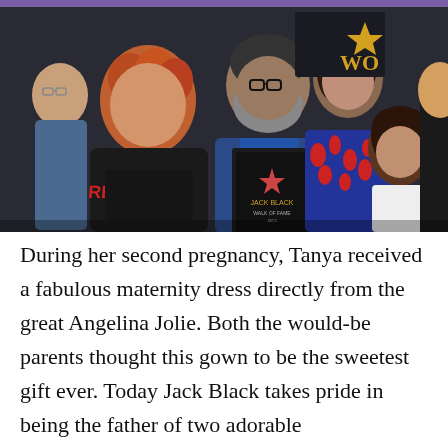[Figure (photo): Group photo of Jack Black with his family at his Hollywood Walk of Fame star ceremony. A boy in a black hoodie with red 'REVENGE' text stands at left, Jack Black in center holding the star plaque, a woman in a red and blue patterned jacket, a younger boy with dark hair at right, and partial figures of other people.]
During her second pregnancy, Tanya received a fabulous maternity dress directly from the great Angelina Jolie. Both the would-be parents thought this gown to be the sweetest gift ever. Today Jack Black takes pride in being the father of two adorable